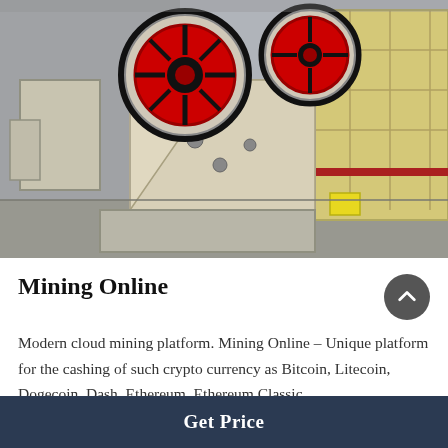[Figure (photo): Industrial jaw crusher / mining equipment machine in a factory setting. Large cream/beige colored crushing machine with red flywheels, sitting on a concrete base. Additional yellow machinery visible in background right.]
Mining Online
Modern cloud mining platform. Mining Online – Unique platform for the cashing of such crypto currency as Bitcoin, Litecoin, Dogecoin, Dash, Ethereum, Ethereum Classic,...
Get Price